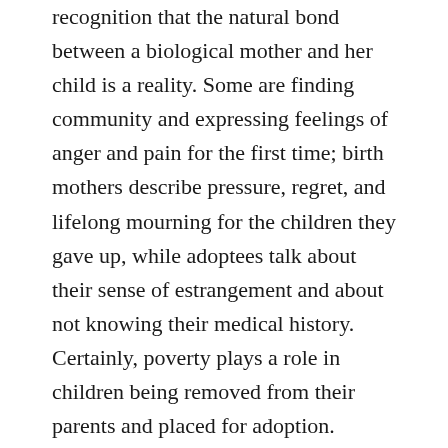recognition that the natural bond between a biological mother and her child is a reality. Some are finding community and expressing feelings of anger and pain for the first time; birth mothers describe pressure, regret, and lifelong mourning for the children they gave up, while adoptees talk about their sense of estrangement and about not knowing their medical history. Certainly, poverty plays a role in children being removed from their parents and placed for adoption.
Wired does proach the topic of the Termination of Parental Rights (TPR). The article notes that TPR has been called the “civil death penalty,” because of its severity and finality. It is overwhelmingly levied against poor families. Some children are taken away from parents who abuse them horribly—and others who